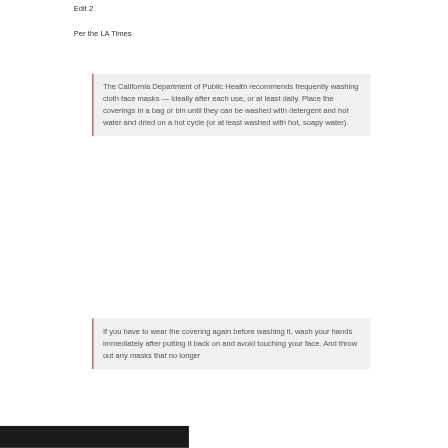Edit 2
Per the LA Times
The California Department of Public Health recommends frequently washing cloth face masks — ideally after each use, or at least daily. Place the coverings in a bag or bin until they can be washed with detergent and hot water and dried on a hot cycle (or at least washed with hot, soapy water).
If you have to wear the covering again before washing it, wash your hands immediately after putting it back on and avoid touching your face. And throw out any masks that no longer